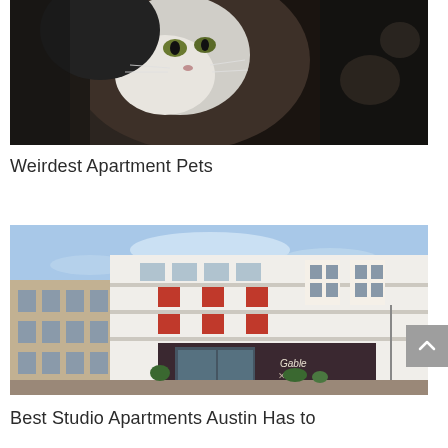[Figure (photo): Close-up photo of a black and white cat, dark moody background]
Weirdest Apartment Pets
[Figure (photo): Exterior photo of a modern apartment complex with white and brick facade, red accent panels, large glass lobby entrance with 'Gable X' signage, blue sky background]
Best Studio Apartments Austin Has to